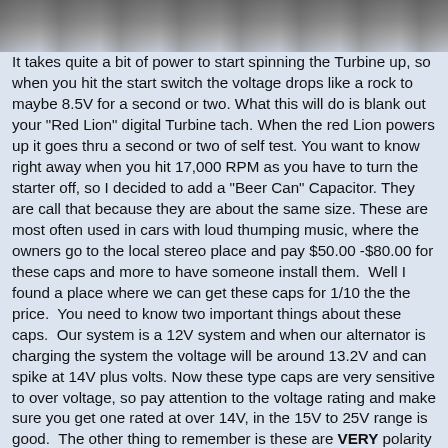[Figure (photo): Top portion of a photo showing a dark metallic object, likely a turbine or engine component, against a blurred background.]
It takes quite a bit of power to start spinning the Turbine up, so when you hit the start switch the voltage drops like a rock to maybe 8.5V for a second or two. What this will do is blank out your "Red Lion" digital Turbine tach. When the red Lion powers up it goes thru a second or two of self test. You want to know right away when you hit 17,000 RPM as you have to turn the starter off, so I decided to add a "Beer Can" Capacitor. They are call that because they are about the same size. These are most often used in cars with loud thumping music, where the owners go to the local stereo place and pay $50.00 -$80.00 for these caps and more to have someone install them. Well I found a place where we can get these caps for 1/10 the the price. You need to know two important things about these caps. Our system is a 12V system and when our alternator is charging the system the voltage will be around 13.2V and can spike at 14V plus volts. Now these type caps are very sensitive to over voltage, so pay attention to the voltage rating and make sure you get one rated at over 14V, in the 15V to 25V range is good. The other thing to remember is these are VERY polarity sensitive, the (+) side MUST go to the + side of your 12V wiring and the (-) side to the GND side of your system, if hooked up backwards these caps will explode like a very large firecracker! A good value range is 22,000uF to